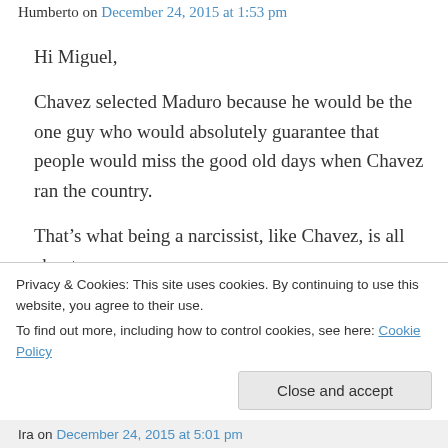Humberto on December 24, 2015 at 1:53 pm
Hi Miguel,
Chavez selected Maduro because he would be the one guy who would absolutely guarantee that people would miss the good old days when Chavez ran the country.
That’s what being a narcissist, like Chavez, is all about.
Have a great holiday Miguel. Hope to catch-up
Privacy & Cookies: This site uses cookies. By continuing to use this website, you agree to their use.
To find out more, including how to control cookies, see here: Cookie Policy
Close and accept
Ira on December 24, 2015 at 5:01 pm